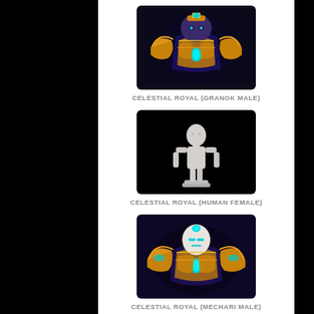[Figure (illustration): Game character thumbnail: Celestial Royal armor on a Granok Male, golden/orange armor with teal accents on dark background]
CELESTIAL ROYAL (GRANOK MALE)
[Figure (illustration): Game character thumbnail: Celestial Royal armor on Human Female, white/grey humanoid figure on black background]
CELESTIAL ROYAL (HUMAN FEMALE)
[Figure (illustration): Game character thumbnail: Celestial Royal armor on Mechari Male, golden/orange armored robot with teal accents on dark purple background]
CELESTIAL ROYAL (MECHARI MALE)
[Figure (illustration): Game character thumbnail: partial view of humanoid figure, white/grey, partially cut off at bottom of page]